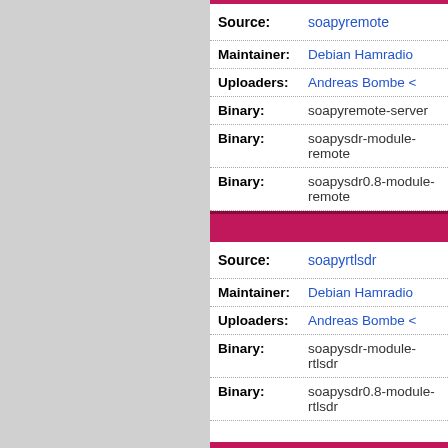| Field | Value |
| --- | --- |
| Source: | soapyremote |
| Maintainer: | Debian Hamradio |
| Uploaders: | Andreas Bombe < |
| Binary: | soapyremote-server |
| Binary: | soapysdr-module-remote |
| Binary: | soapysdr0.8-module-remote |
| Field | Value |
| --- | --- |
| Source: | soapyrtlsdr |
| Maintainer: | Debian Hamradio |
| Uploaders: | Andreas Bombe < |
| Binary: | soapysdr-module-rtlsdr |
| Binary: | soapysdr0.8-module-rtlsdr |